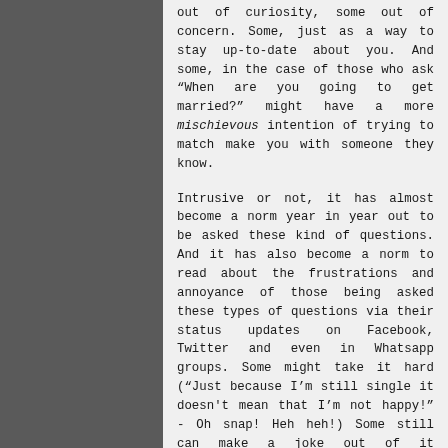out of curiosity, some out of concern. Some, just as a way to stay up-to-date about you. And some, in the case of those who ask “When are you going to get married?” might have a more mischievous intention of trying to match make you with someone they know.

Intrusive or not, it has almost become a norm year in year out to be asked these kind of questions. And it has also become a norm to read about the frustrations and annoyance of those being asked these types of questions via their status updates on Facebook, Twitter and even in Whatsapp groups. Some might take it hard (“Just because I’m still single it doesn't mean that I’m not happy!” - Oh snap! Heh heh!) Some still can make a joke out of it (“Tomorrow, if it doesn't rain.” - Eh?!) Some even dread travelling back to their hometown for the festivity because of these questions. It